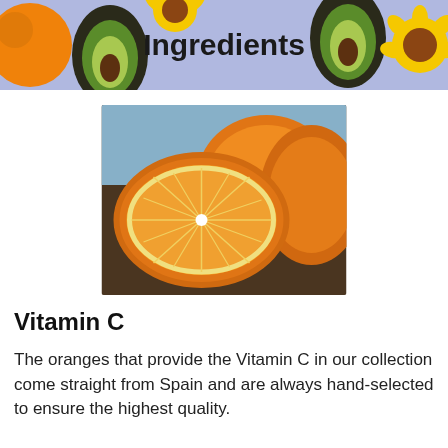Ingredients
[Figure (photo): Photo of sliced oranges showing cross-section of orange flesh, on a dark wooden surface with a blue background]
Vitamin C
The oranges that provide the Vitamin C in our collection come straight from Spain and are always hand-selected to ensure the highest quality.